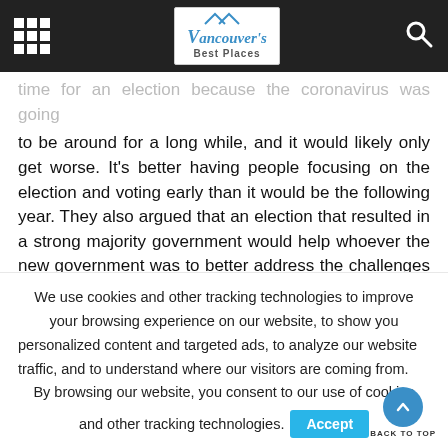Vancouver's Best Places — navigation bar with grid menu and search icon
time for an election because the coronavirus was going to be around for a long while, and it would likely only get worse. It's better having people focusing on the election and voting early than it would be the following year. They also argued that an election that resulted in a strong majority government would help whoever the new government was to better address the challenges that lay ahead because of COVID-19.
Regardless of whether it was a good time for an
We use cookies and other tracking technologies to improve your browsing experience on our website, to show you personalized content and targeted ads, to analyze our website traffic, and to understand where our visitors are coming from. By browsing our website, you consent to our use of cookies and other tracking technologies.